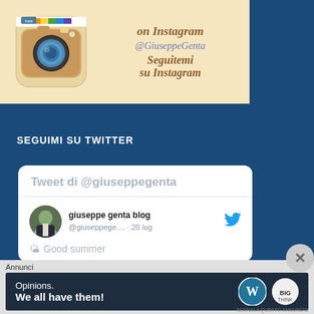[Figure (screenshot): Instagram promotional banner with camera icon, text 'on Instagram', '@GiuseppeGenta', 'Seguitemi su Instagram' on beige background]
SEGUIMI SU TWITTER
[Figure (screenshot): Twitter widget showing tweets by @giuseppegenta, with profile photo, handle '@giuseppege... · 20 lug', tweet text '🌤 Good summer']
Annunci
[Figure (screenshot): WordPress advertisement banner: 'Opinions. We all have them!' with WordPress and BigThink logos]